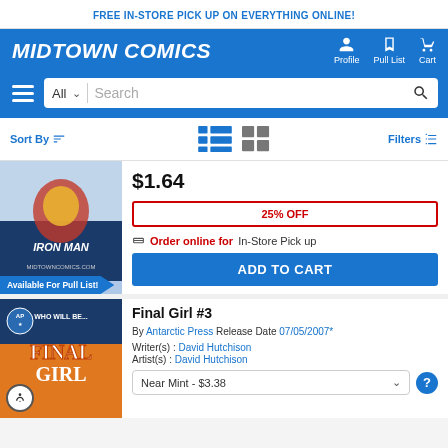FREE IN-STORE PICK UP ON EVERYTHING ONLINE!
[Figure (logo): Midtown Comics logo with navigation icons for Profile, Pull List, and Cart]
[Figure (screenshot): Search bar with All category selector and search input]
Sort By | Filters
[Figure (photo): Iron Man comic book cover from midtowncomics.com]
$1.64
25% OFF
Order online for In-Store Pick up
ADD TO CART
Available For Pull List!
Final Girl #3
By Antarctic Press Release Date 07/05/2007*
Writer(s) : David Hutchison
Artist(s) : David Hutchison
Near Mint - $3.38